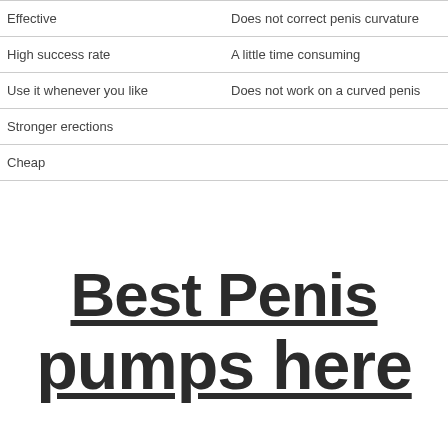| Effective | Does not correct penis curvature |
| High success rate | A little time consuming |
| Use it whenever you like | Does not work on a curved penis |
| Stronger erections |  |
| Cheap |  |
Best Penis pumps here